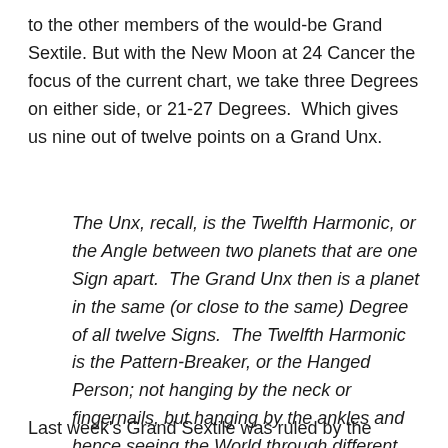to the other members of the would-be Grand Sextile. But with the New Moon at 24 Cancer the focus of the current chart, we take three Degrees on either side, or 21-27 Degrees.  Which gives us nine out of twelve points on a Grand Unx.
The Unx, recall, is the Twelfth Harmonic, or the Angle between two planets that are one Sign apart.  The Grand Unx then is a planet in the same (or close to the same) Degree of all twelve Signs.  The Twelfth Harmonic is the Pattern-Breaker, or the Hanged Person; not hanging by the neck or fingernails, but hanging by the ankles and hence seeing the World through different Perspectives.
Last week's Grand Sextile was ruled by the Station of